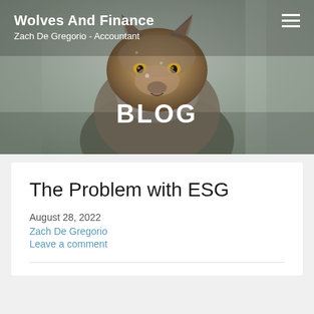Wolves And Finance
Zach De Gregorio - Accountant
[Figure (photo): Close-up photograph of a grey wolf facing the camera, with blurred forest background. The header banner image for the blog 'Wolves And Finance'.]
BLOG
The Problem with ESG
August 28, 2022
Zach De Gregorio
Leave a comment